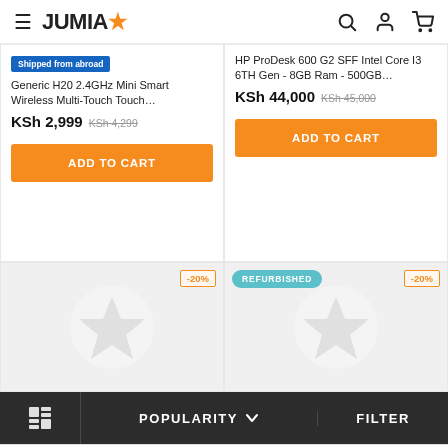JUMIA - e-commerce navigation header with hamburger menu, search, account, and cart icons
Shipped from abroad
Generic H20 2.4GHz Mini Smart Wireless Multi-Touch Touch…
KSh 2,999 KSh 4,299
ADD TO CART
HP ProDesk 600 G2 SFF Intel Core I3 6TH Gen - 8GB Ram - 500GB…
KSh 44,000 KSh 45,000
ADD TO CART
[Figure (screenshot): Product image placeholder with Jumia star logo - -20% badge]
[Figure (screenshot): Refurbished product image placeholder with Jumia star logo - REFURBISHED badge - -20% badge]
POPULARITY  ∨     FILTER
This website uses cookies. For further information on how we use cookies you can read our Privacy and Cookie notice